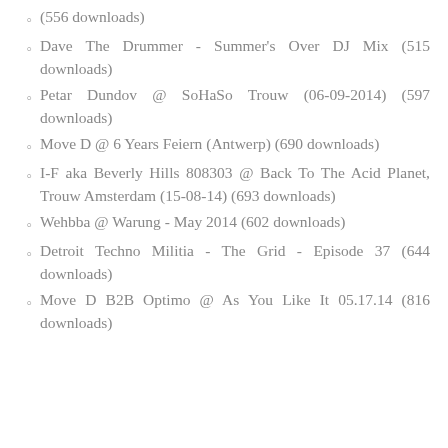(556 downloads)
Dave The Drummer - Summer's Over DJ Mix (515 downloads)
Petar Dundov @ SoHaSo Trouw (06-09-2014) (597 downloads)
Move D @ 6 Years Feiern (Antwerp) (690 downloads)
I-F aka Beverly Hills 808303 @ Back To The Acid Planet, Trouw Amsterdam (15-08-14) (693 downloads)
Wehbba @ Warung - May 2014 (602 downloads)
Detroit Techno Militia - The Grid - Episode 37 (644 downloads)
Move D B2B Optimo @ As You Like It 05.17.14 (816 downloads)